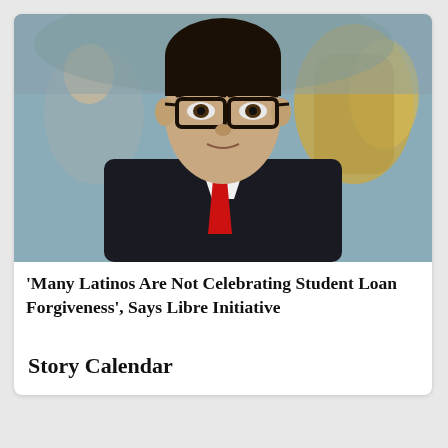[Figure (photo): A man in a dark suit with a red tie and black-framed glasses, looking directly at the camera. Background shows blurred figures of people outdoors.]
'Many Latinos Are Not Celebrating Student Loan Forgiveness', Says Libre Initiative
Story Calendar